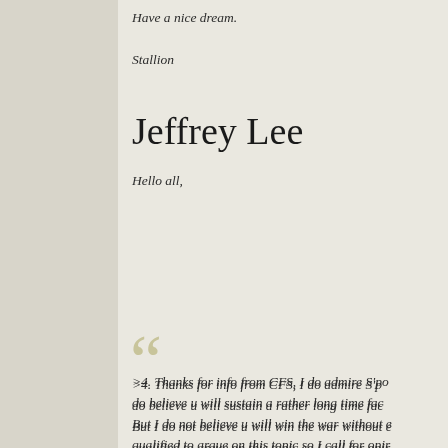Have a nice dream.
Stallion
Jeffrey Lee
Hello all,
>4. Thanks for info from CFS, I do admire S'po do believe u will sustain a rather long time fac But I do not believe u will win the war without e qualified to argue on this topic so I call for opir fundamental strategy of S'pore.
–> agree . Being a combat active NSmen who Thailand, I guess that I am the most qualified a its small population, S'pore has invested in hig the manpower requirements. So we do have i